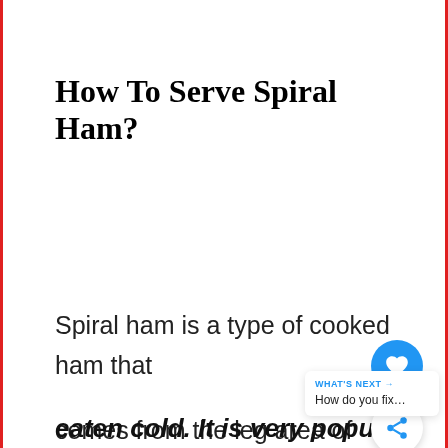How To Serve Spiral Ham?
Spiral ham is a type of cooked ham that comes from the leg area of pigs. Spiral ham is usually served sliced and eaten cold. It is very popular in
[Figure (other): Blue circular like/heart button and share button UI overlay]
WHAT'S NEXT → How do you fix…